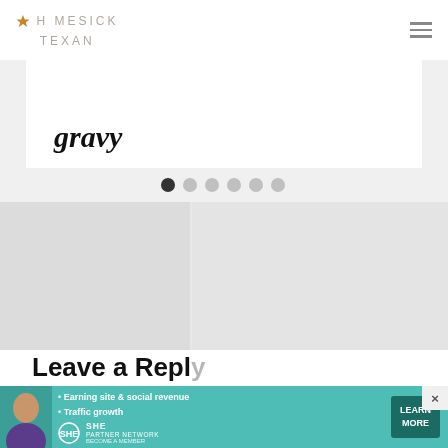HOMESICK TEXAN
gravy
[Figure (other): Carousel navigation dots — 6 dots, first one active (dark), rest light grey]
[Figure (other): Two side-by-side placeholder/image blocks in a light grey area]
Leave a Reply
Cancel reply
Your email address will not be published. Required fields
[Figure (infographic): SHE Partner Network advertisement banner with woman photo, bullet points: Earning site & social revenue, Traffic growth, and LEARN MORE button]